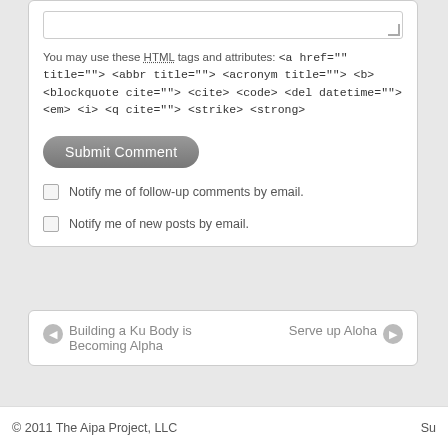You may use these HTML tags and attributes: <a href="" title=""> <abbr title=""> <acronym title=""> <b> <blockquote cite=""> <cite> <code> <del datetime=""> <em> <i> <q cite=""> <strike> <strong>
Submit Comment
Notify me of follow-up comments by email.
Notify me of new posts by email.
Building a Ku Body is Becoming Alpha
Serve up Aloha
© 2011 The Aipa Project, LLC  Su...